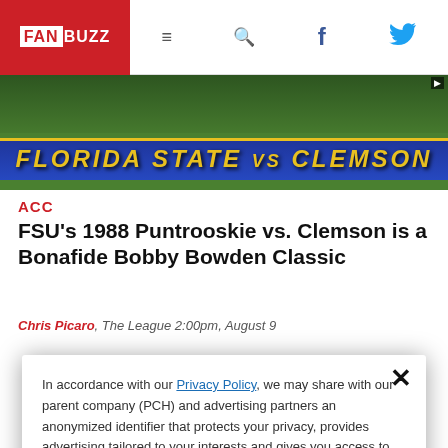FAN BUZZ
[Figure (screenshot): Video thumbnail showing 'FLORIDA STATE vs CLEMSON' text on a football field background with blue banner and gold text]
ACC
FSU's 1988 Puntrooskie vs. Clemson is a Bonafide Bobby Bowden Classic
Chris Picaro, The League 2:00pm, August 9
In accordance with our Privacy Policy, we may share with our parent company (PCH) and advertising partners an anonymized identifier that protects your privacy, provides advertising tailored to your interests and gives you access to advertising supported content. Data collected on one of our sites may be used on our other owned and operated sites, which sites are identified in our Privacy Policy. All of our sites are governed by the same Privacy Policy, and by proceeding to access this site, you are consenting to that Privacy Policy.